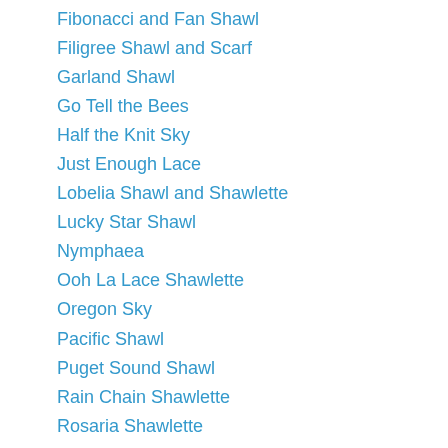Fibonacci and Fan Shawl
Filigree Shawl and Scarf
Garland Shawl
Go Tell the Bees
Half the Knit Sky
Just Enough Lace
Lobelia Shawl and Shawlette
Lucky Star Shawl
Nymphaea
Ooh La Lace Shawlette
Oregon Sky
Pacific Shawl
Puget Sound Shawl
Rain Chain Shawlette
Rosaria Shawlette
Ships in the Night Shawl
Sophie’s Rose Shawlette
Summertime Blues
Syncopation
Tilt Shift Wrap